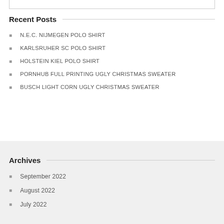Recent Posts
N.E.C. NIJMEGEN POLO SHIRT
KARLSRUHER SC POLO SHIRT
HOLSTEIN KIEL POLO SHIRT
PORNHUB FULL PRINTING UGLY CHRISTMAS SWEATER
BUSCH LIGHT CORN UGLY CHRISTMAS SWEATER
Archives
September 2022
August 2022
July 2022